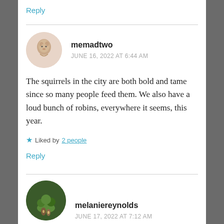Reply
memadtwo
JUNE 16, 2022 AT 6:44 AM
The squirrels in the city are both bold and tame since so many people feed them. We also have a loud bunch of robins, everywhere it seems, this year.
★ Liked by 2 people
Reply
melaniereynolds